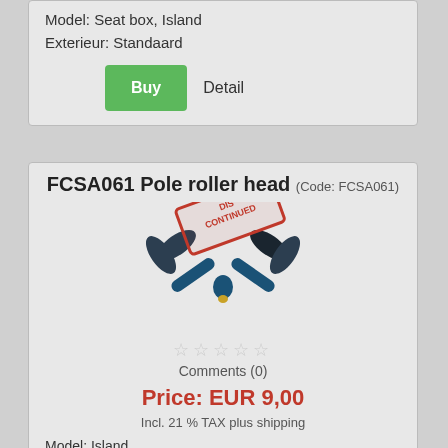Model: Seat box, Island
Exterieur: Standaard
Buy  Detail
FCSA061 Pole roller head (Code: FCSA061)
[Figure (photo): Photo of a pole roller head with a DISCONTINUED stamp overlay. The product has two foam rollers on a blue Y-shaped metal connector with a gold tip.]
Comments (0)
Price: EUR 9,00
Incl. 21 % TAX plus shipping
Model: Island
Type: 350 (compact model, drawer: 350 x 240 mm), 450 (standard model, drawer: 450 x 290 mm)